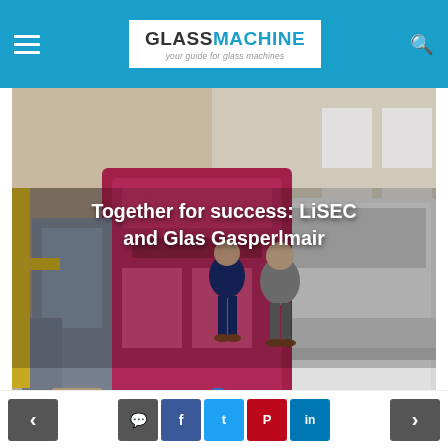GLASSMACHINE - your guide for glass machines
[Figure (photo): Factory floor with large industrial glass processing machinery (magenta/red colored machine) and two men standing in front of it in a warehouse setting. Title overlay reads: Together for success: LiSEC and Glas Gasperlmair]
Together for success: LiSEC and Glas Gasperlmair
Add Comment
Click here to post a comment